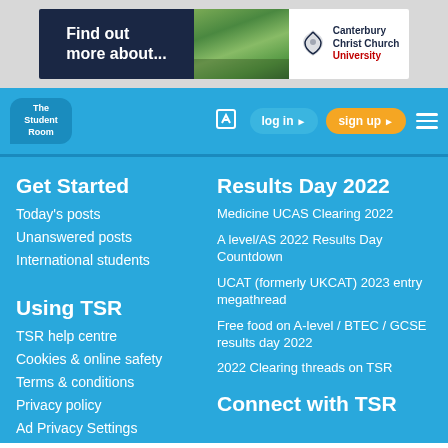[Figure (screenshot): Canterbury Christ Church University advertisement banner with 'Find out more about...' text on dark background with campus photo and university logo]
[Figure (screenshot): The Student Room website navigation bar with logo, edit icon, log in and sign up buttons, and hamburger menu on blue background]
Get Started
Today's posts
Unanswered posts
International students
Using TSR
TSR help centre
Cookies & online safety
Terms & conditions
Privacy policy
Ad Privacy Settings
Results Day 2022
Medicine UCAS Clearing 2022
A level/AS 2022 Results Day Countdown
UCAT (formerly UKCAT) 2023 entry megathread
Free food on A-level / BTEC / GCSE results day 2022
2022 Clearing threads on TSR
Connect with TSR